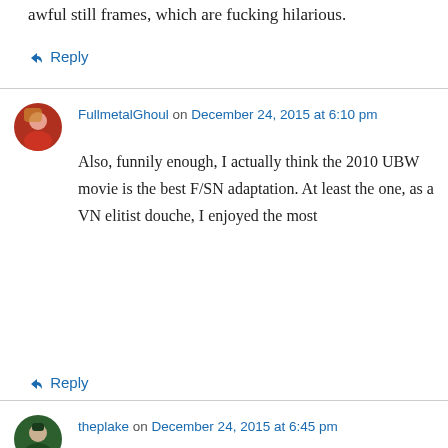awful still frames, which are fucking hilarious.
↳ Reply
FullmetalGhoul on December 24, 2015 at 6:10 pm
Also, funnily enough, I actually think the 2010 UBW movie is the best F/SN adaptation. At least the one, as a VN elitist douche, I enjoyed the most
↳ Reply
theplake on December 24, 2015 at 6:45 pm
It's kind of an odd thing to say that you don't understand the appeal of Fate when the adaptation is so poorly regarded, one would